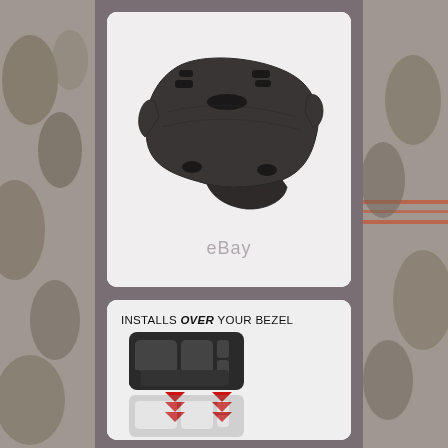[Figure (photo): Product photo of a dark grey/charcoal dashboard cover/cap on a white background, showing the curved shape with openings for vents and gauges. An eBay watermark is visible near the bottom.]
[Figure (infographic): Illustration showing a dark instrument cluster bezel overlay installing over an existing bezel, with red downward chevron arrows indicating the installation direction. Text reads 'INSTALLS OVER YOUR BEZEL'.]